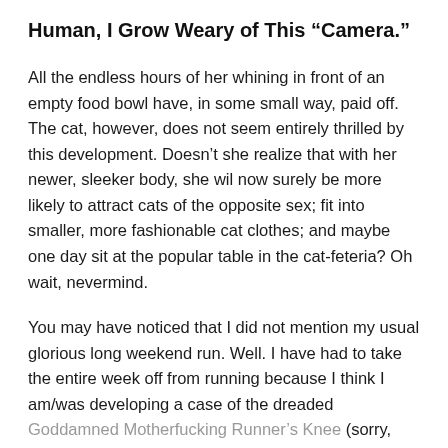Human, I Grow Weary of This “Camera.”
All the endless hours of her whining in front of an empty food bowl have, in some small way, paid off. The cat, however, does not seem entirely thrilled by this development. Doesn’t she realize that with her newer, sleeker body, she wil now surely be more likely to attract cats of the opposite sex; fit into smaller, more fashionable cat clothes; and maybe one day sit at the popular table in the cat-feteria? Oh wait, nevermind.
You may have noticed that I did not mention my usual glorious long weekend run. Well. I have had to take the entire week off from running because I think I am/was developing a case of the dreaded Goddamned Motherfucking Runner’s Knee (sorry, ...